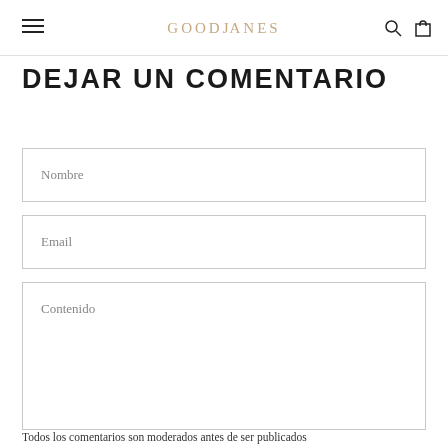GOODJANES
DEJAR UN COMENTARIO
Nombre
Email
Contenido
Todos los comentarios son moderados antes de ser publicados